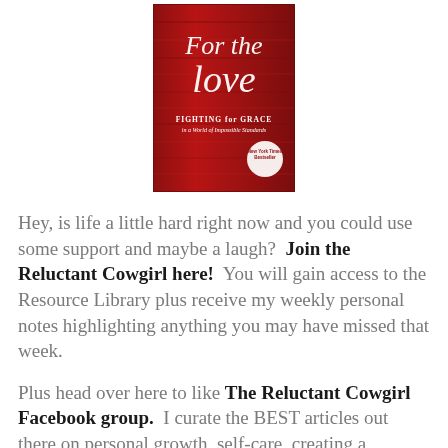[Figure (photo): Book cover of 'For the Love: Fighting for Grace in a World of Impossible Standards' — red wood-grain background with white script title text and a New York Times Bestseller badge]
Hey, is life a little hard right now and you could use some support and maybe a laugh?  Join the Reluctant Cowgirl here!  You will gain access to the Resource Library plus receive my weekly personal notes highlighting anything you may have missed that week.
Plus head over here to like The Reluctant Cowgirl Facebook group.  I curate the BEST articles out there on personal growth, self-care, creating a connected family life and cultivating